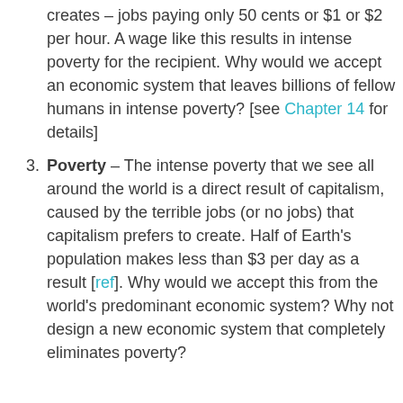creates – jobs paying only 50 cents or $1 or $2 per hour. A wage like this results in intense poverty for the recipient. Why would we accept an economic system that leaves billions of fellow humans in intense poverty? [see Chapter 14 for details]
Poverty – The intense poverty that we see all around the world is a direct result of capitalism, caused by the terrible jobs (or no jobs) that capitalism prefers to create. Half of Earth's population makes less than $3 per day as a result [ref]. Why would we accept this from the world's predominant economic system? Why not design a new economic system that completely eliminates poverty?